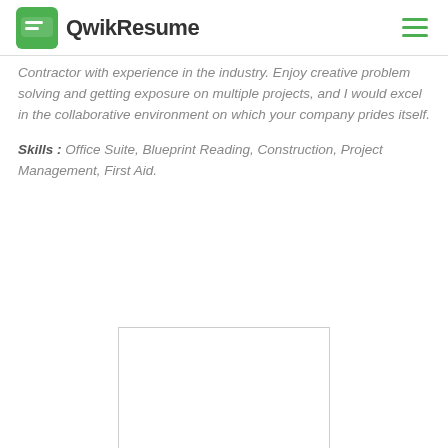QwikResume
Contractor with experience in the industry. Enjoy creative problem solving and getting exposure on multiple projects, and I would excel in the collaborative environment on which your company prides itself.
Skills : Office Suite, Blueprint Reading, Construction, Project Management, First Aid.
[Figure (other): White rectangle preview box with light gray border, representing a resume document preview]